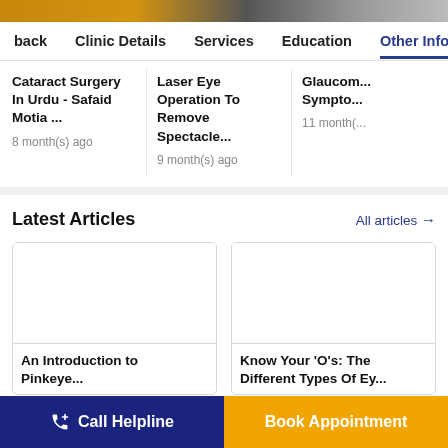back  Clinic Details  Services  Education  Other Info
Cataract Surgery In Urdu - Safaid Motia ...
8 month(s) ago
Laser Eye Operation To Remove Spectacle...
9 month(s) ago
Glaucom... Sympto...
11 month(s)
Latest Articles
All articles →
[Figure (photo): Blank image placeholder for article: An Introduction to Pinkeye...]
An Introduction to Pinkeye...
[Figure (photo): Blank image placeholder for article: Know Your 'O's: The Different Types Of Ey...]
Know Your 'O's: The Different Types Of Ey...
Call Helpline
Book Appointment